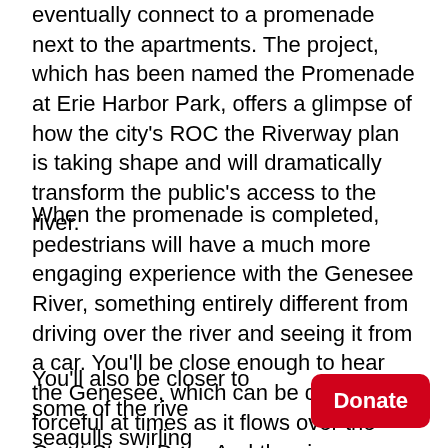eventually connect to a promenade next to the apartments. The project, which has been named the Promenade at Erie Harbor Park, offers a glimpse of how the city's ROC the Riverway plan is taking shape and will dramatically transform the public's access to the river.
When the promenade is completed, pedestrians will have a much more engaging experience with the Genesee River, something entirely different from driving over the river and seeing it from a car. You'll be close enough to hear the Genesee, which can be quite forceful at times as it flows over the Court Street Dam. And the views are spectacular: you can see the dam, the Frederick Douglass-Susan B. Anthony Bridge, the aqueduct, and portions of downtown.
You'll also be closer to some of the rive… seagulls swirling overhead, ducks padd…